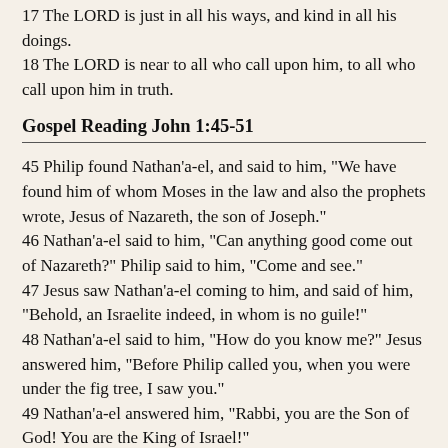17 The LORD is just in all his ways, and kind in all his doings. 18 The LORD is near to all who call upon him, to all who call upon him in truth.
Gospel Reading John 1:45-51
45 Philip found Nathan'a-el, and said to him, "We have found him of whom Moses in the law and also the prophets wrote, Jesus of Nazareth, the son of Joseph." 46 Nathan'a-el said to him, "Can anything good come out of Nazareth?" Philip said to him, "Come and see." 47 Jesus saw Nathan'a-el coming to him, and said of him, "Behold, an Israelite indeed, in whom is no guile!" 48 Nathan'a-el said to him, "How do you know me?" Jesus answered him, "Before Philip called you, when you were under the fig tree, I saw you." 49 Nathan'a-el answered him, "Rabbi, you are the Son of God! You are the King of Israel!" 50 Jesus answered him, "Because I said to you, I saw you under the fig tree, do you believe? You shall see greater things than these." 51 And he said to him, "Truly, truly, I say to you, you will see heaven opened, and the angels of God ascending and descending